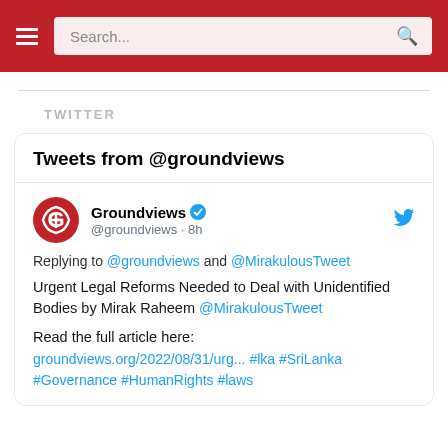Search...
TWITTER
Tweets from @groundviews
Groundviews @groundviews · 8h
Replying to @groundviews and @MirakulousTweet
Urgent Legal Reforms Needed to Deal with Unidentified Bodies by Mirak Raheem @MirakulousTweet
Read the full article here:
groundviews.org/2022/08/31/urg... #lka #SriLanka #Governance #HumanRights #laws